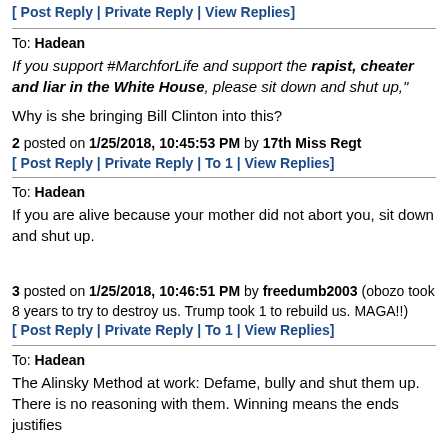[ Post Reply | Private Reply | View Replies]
To: Hadean
If you support #MarchforLife and support the rapist, cheater and liar in the White House, please sit down and shut up,"
Why is she bringing Bill Clinton into this?
2 posted on 1/25/2018, 10:45:53 PM by 17th Miss Regt
[ Post Reply | Private Reply | To 1 | View Replies]
To: Hadean
If you are alive because your mother did not abort you, sit down and shut up.
3 posted on 1/25/2018, 10:46:51 PM by freedumb2003 (obozo took 8 years to try to destroy us. Trump took 1 to rebuild us. MAGA!!)
[ Post Reply | Private Reply | To 1 | View Replies]
To: Hadean
The Alinsky Method at work: Defame, bully and shut them up. There is no reasoning with them. Winning means the ends justifies